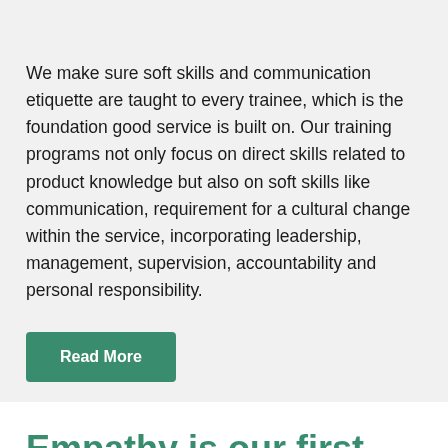We make sure soft skills and communication etiquette are taught to every trainee, which is the foundation good service is built on. Our training programs not only focus on direct skills related to product knowledge but also on soft skills like communication, requirement for a cultural change within the service, incorporating leadership, management, supervision, accountability and personal responsibility.
Read More
Empathy is our first language.